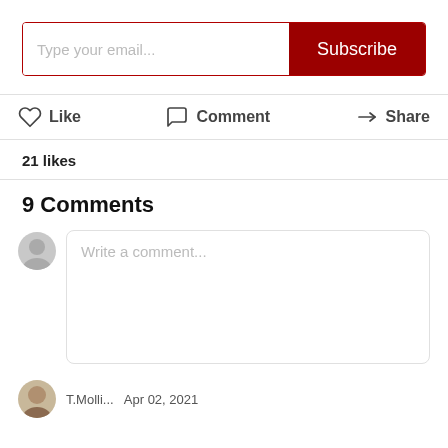[Figure (screenshot): Email subscription input bar with placeholder 'Type your email...' and a dark red 'Subscribe' button]
[Figure (screenshot): Action bar with Like (heart icon), Comment (speech bubble icon), Share (arrow icon) buttons]
21 likes
9 Comments
[Figure (screenshot): Comment input area with anonymous user avatar and 'Write a comment...' placeholder text box]
[Figure (screenshot): Commenter avatar (partial, bottom of page) next to name and date beginning with 'T.Molli...' and 'Apr 02, 2021']